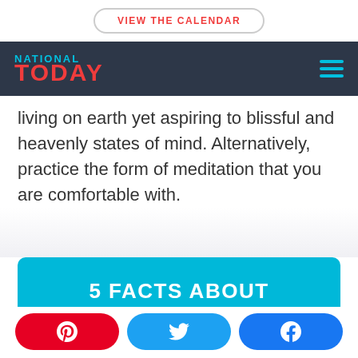VIEW THE CALENDAR
NATIONAL TODAY
living on earth yet aspiring to blissful and heavenly states of mind. Alternatively, practice the form of meditation that you are comfortable with.
5 FACTS ABOUT